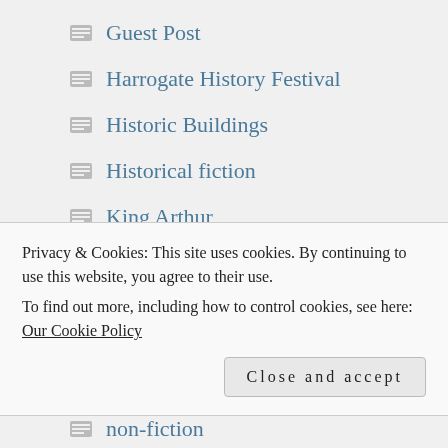Guest Post
Harrogate History Festival
Historic Buildings
Historical fiction
King Arthur
Legends
Lincolnshire history
Magna Carta
Medieval History
Privacy & Cookies: This site uses cookies. By continuing to use this website, you agree to their use.
To find out more, including how to control cookies, see here: Our Cookie Policy
non-fiction